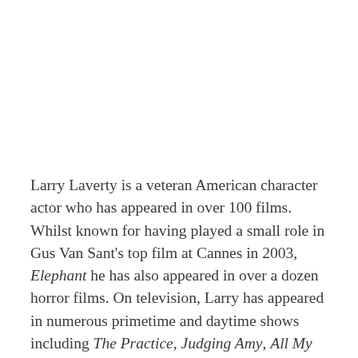Larry Laverty is a veteran American character actor who has appeared in over 100 films. Whilst known for having played a small role in Gus Van Sant's top film at Cannes in 2003, Elephant he has also appeared in over a dozen horror films. On television, Larry has appeared in numerous primetime and daytime shows including The Practice, Judging Amy, All My Children, Days of Our Lives and The Tonight Show. He began his professional career on-stage performing in plays by Shakespeare and Broadway musicals.